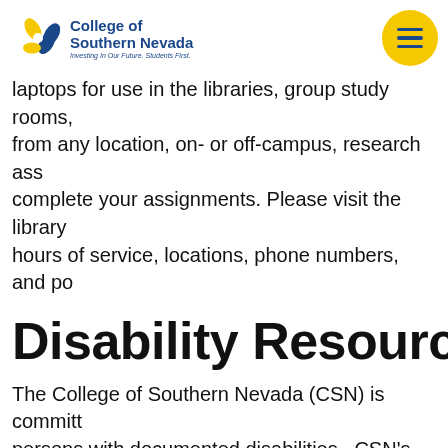College of Southern Nevada — Investing In Our Future. Students First.
laptops for use in the libraries, group study rooms, from any location, on- or off-campus, research ass... complete your assignments. Please visit the library hours of service, locations, phone numbers, and po...
Disability Resource
The College of Southern Nevada (CSN) is committ... persons with documented disabilities. CSN's policy... Americans with Disabilities Act of 1990, and the Am... responsibilities for promoting equal access. CSN h...